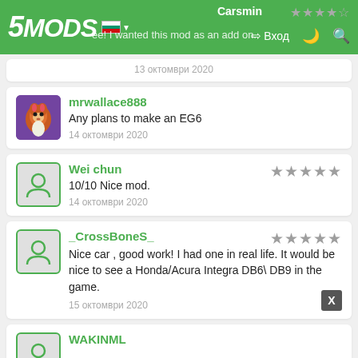5MODS — Вход (navigation bar)
13 октомври 2020
mrwallace888
Any plans to make an EG6
14 октомври 2020
Wei chun ★★★★★
10/10 Nice mod.
14 октомври 2020
_CrossBoneS_ ★★★★★
Nice car , good work! I had one in real life. It would be nice to see a Honda/Acura Integra DB6\ DB9 in the game.
15 октомври 2020
WAKINML